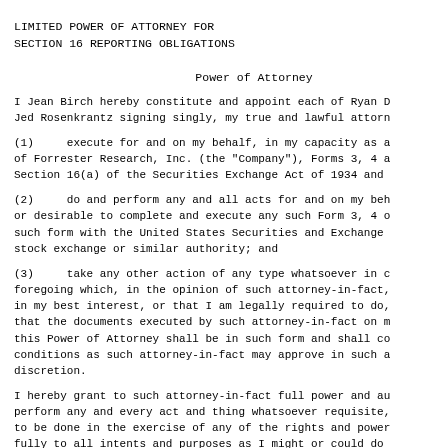LIMITED POWER OF ATTORNEY FOR
SECTION 16 REPORTING OBLIGATIONS
Power of Attorney
I Jean Birch hereby constitute and appoint each of Ryan D Jed Rosenkrantz signing singly, my true and lawful attorn
(1)     execute for and on my behalf, in my capacity as a of Forrester Research, Inc. (the "Company"), Forms 3, 4 a Section 16(a) of the Securities Exchange Act of 1934 and
(2)     do and perform any and all acts for and on my beh or desirable to complete and execute any such Form 3, 4 o such form with the United States Securities and Exchange stock exchange or similar authority; and
(3)     take any other action of any type whatsoever in c foregoing which, in the opinion of such attorney-in-fact, in my best interest, or that I am legally required to do, that the documents executed by such attorney-in-fact on m this Power of Attorney shall be in such form and shall co conditions as such attorney-in-fact may approve in such a discretion.
I hereby grant to such attorney-in-fact full power and au perform any and every act and thing whatsoever requisite, to be done in the exercise of any of the rights and power fully to all intents and purposes as I might or could do